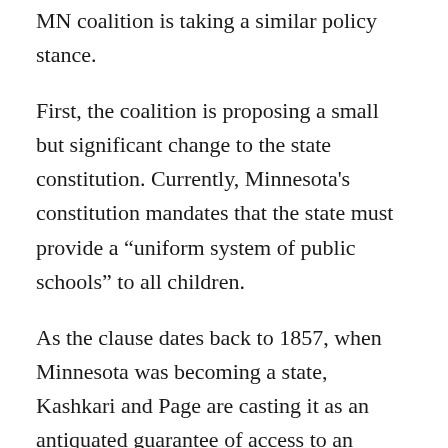MN coalition is taking a similar policy stance.
First, the coalition is proposing a small but significant change to the state constitution. Currently, Minnesota's constitution mandates that the state must provide a “uniform system of public schools” to all children.
As the clause dates back to 1857, when Minnesota was becoming a state, Kashkari and Page are casting it as an antiquated guarantee of access to an “adequate education system.” More than a “system,” they argue that students need a “quality public education.” The distinction seems small, but its consequences could be massive.
As Page put it: “Updating our constitution by